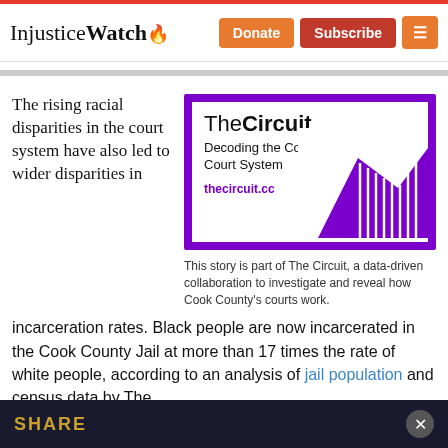InjusticeWatch | Donate | Subscribe
The rising racial disparities in the court system have also led to wider disparities in
[Figure (illustration): The Circuit promo box with purple background. White inner panel with 'TheCircuit' title, subtitle 'Decoding the Cook County Court System', URL 'thecircuit.cc', and a purple mountain/lines graphic on the right.]
This story is part of The Circuit, a data-driven collaboration to investigate and reveal how Cook County's courts work.
incarceration rates. Black people are now incarcerated in the Cook County Jail at more than 17 times the rate of white people, according to an analysis of jail population and census data by The
SHARE